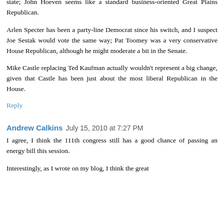when he was in the Senate.
Byron Dorgan is a pretty liberal Democrat for one representing a conservative state; John Hoeven seems like a standard business-oriented Great Plains Republican.
Arlen Specter has been a party-line Democrat since his switch, and I suspect Joe Sestak would vote the same way; Pat Toomey was a very conservative House Republican, although he might moderate a bit in the Senate.
Mike Castle replacing Ted Kaufman actually wouldn't represent a big change, given that Castle has been just about the most liberal Republican in the House.
Reply
Andrew Calkins  July 15, 2010 at 7:27 PM
I agree, I think the 111th congress still has a good chance of passing an energy bill this session.
Interestingly, as I wrote on my blog, I think the great